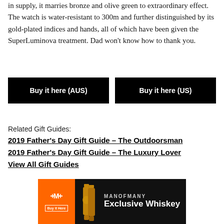in supply, it marries bronze and olive green to extraordinary effect. The watch is water-resistant to 300m and further distinguished by its gold-plated indices and hands, all of which have been given the SuperLuminova treatment. Dad won't know how to thank you.
Buy it here (AUS) | Buy it here (US)
Related Gift Guides:
2019 Father's Day Gift Guide – The Outdoorsman
2019 Father's Day Gift Guide – The Luxury Lover
View All Gift Guides
[Figure (infographic): Man of Many advertisement banner for Exclusive Whiskey. Black background with orange left panel showing logo and Buy it Here button, whiskey bottle images in center, MANOFMANY brand name and 'Exclusive Whiskey' text on right.]